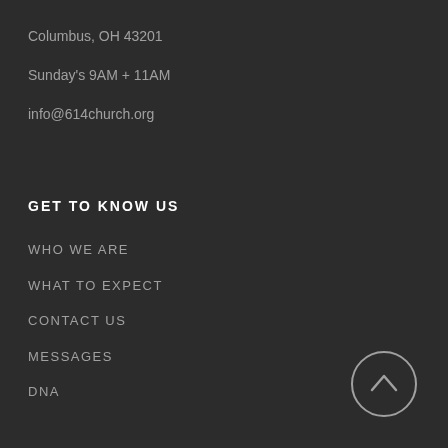Columbus, OH 43201
Sunday's 9AM + 11AM
info@614church.org
GET TO KNOW US
WHO WE ARE
WHAT TO EXPECT
CONTACT US
MESSAGES
DNA
[Figure (illustration): Circle with upward arrow button for scroll to top]